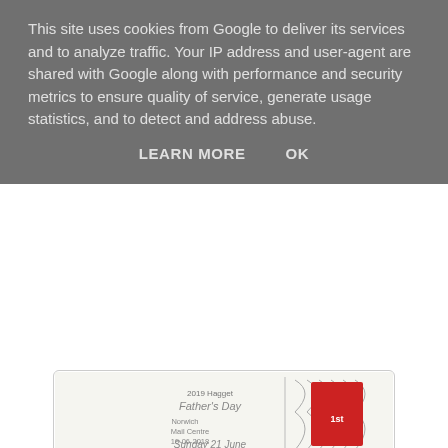This site uses cookies from Google to deliver its services and to analyze traffic. Your IP address and user-agent are shared with Google along with performance and security metrics to ensure quality of service, generate usage statistics, and to detect and address abuse.
LEARN MORE    OK
[Figure (photo): Father's Day postmark from Norwich Mail Centre dated 19-06-2018, showing partial slogan 'Father's Day Sunday 21 June' with a red stamp]
The first Armed Forces Day postmark has arrived, from Sheffield Mail Centre 25.06.15:
[Figure (photo): Armed Forces Day postmark from Sheffield Mail Centre dated 25.06.15, 06:29 pm, showing 'Armed Forces Day 27 June 2015 Show Your Support' with Royal Mail logo and red stamp]
And from Mount Pleasant in the other format:
[Figure (photo): Partial postmark image from Mount Pleasant in another format (partially visible at bottom of page)]